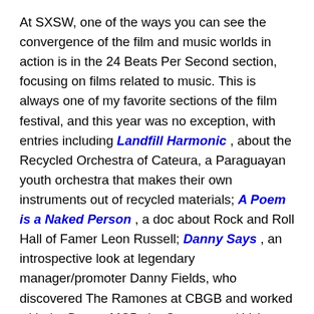At SXSW, one of the ways you can see the convergence of the film and music worlds in action is in the 24 Beats Per Second section, focusing on films related to music. This is always one of my favorite sections of the film festival, and this year was no exception, with entries including Landfill Harmonic , about the Recycled Orchestra of Cateura, a Paraguayan youth orchestra that makes their own instruments out of recycled materials; A Poem is a Naked Person , a doc about Rock and Roll Hall of Famer Leon Russell; Danny Says , an introspective look at legendary manager/promoter Danny Fields, who discovered The Ramones at CBGB and worked with the Doors, MC5, the Stooges and Velvet Underground and Nico, among others; Kurt Cobain: Montage of Heck , a raw and intimate look at the life and career of the iconic Nirvana frontman; Mavis! , a film